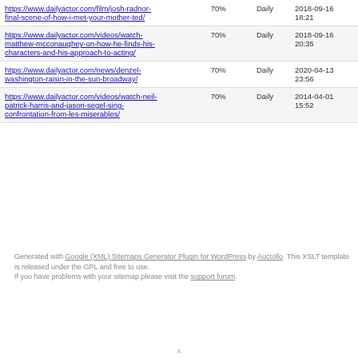| https://www.dailyactor.com/film/josh-radnor-final-scene-of-how-i-met-your-mother-ted/ | 70% | Daily | 2018-09-16 18:21 |
| https://www.dailyactor.com/videos/watch-matthew-mcconaughey-on-how-he-finds-his-characters-and-his-approach-to-acting/ | 70% | Daily | 2018-09-16 20:35 |
| https://www.dailyactor.com/news/denzel-washington-raisin-in-the-sun-broadway/ | 70% | Daily | 2020-04-13 23:56 |
| https://www.dailyactor.com/videos/watch-neil-patrick-harris-and-jason-segel-sing-confrontation-from-les-miserables/ | 70% | Daily | 2014-04-01 15:52 |
Generated with Google (XML) Sitemaps Generator Plugin for WordPress by Auctollo. This XSLT template is released under the GPL and free to use.
If you have problems with your sitemap please visit the support forum.